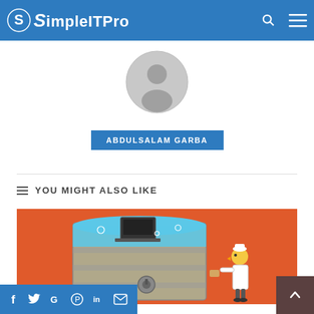SimpleITPro
[Figure (illustration): Gray default user avatar circle icon]
ABDULSALAM GARBA
YOU MIGHT ALSO LIKE
[Figure (illustration): Cartoon illustration of a large cylindrical barrel/tank with water and a laptop inside, on an orange background, with a cartoon character in a white coat working on the barrel]
Social share bar: f y G Pinterest in email